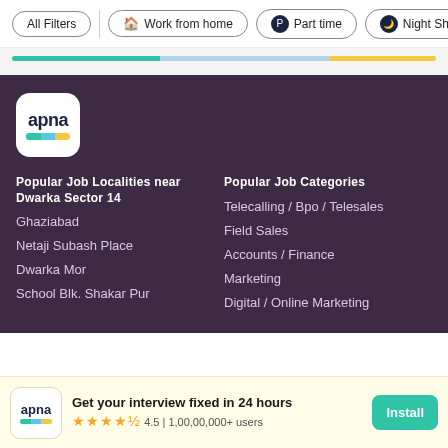All Filters | Work from home | Part time | Night Sh
[Figure (infographic): Horizontal segmented progress bar with three color segments: teal/green, light blue, and gold/yellow]
[Figure (logo): Apna app logo: white rounded square with 'apna' text and teal/blue/yellow bar]
Popular Job Localities near Dwarka Sector 14
Ghaziabad
Netaji Subash Place
Dwarka Mor
School Blk. Shakar Pur
Popular Job Categories
Telecalling / Bpo / Telesales
Field Sales
Accounts / Finance
Marketing
Digital / Online Marketing
Get your interview fixed in 24 hours
4.5 | 1,00,00,000+ users